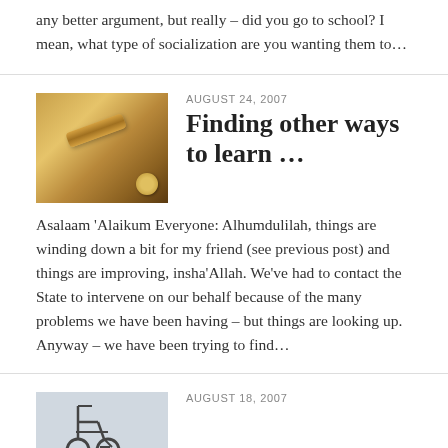any better argument, but really – did you go to school? I mean, what type of socialization are you wanting them to...
AUGUST 24, 2007
Finding other ways to learn …
[Figure (photo): Thumbnail image with warm golden-brown tones showing what appears to be a rolling pin or cylindrical object on a map or parchment background]
Asalaam 'Alaikum Everyone: Alhumdulilah, things are winding down a bit for my friend (see previous post) and things are improving, insha'Allah. We've had to contact the State to intervene on our behalf because of the many problems we have been having – but things are looking up. Anyway – we have been trying to find...
AUGUST 18, 2007
[Figure (photo): Thumbnail image showing a wheelchair against a light background]